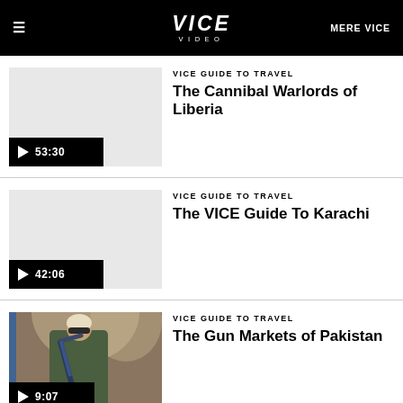VICE VIDEO | MERE VICE
[Figure (screenshot): Video thumbnail placeholder (grey) for The Cannibal Warlords of Liberia, with play button and duration 53:30]
VICE GUIDE TO TRAVEL
The Cannibal Warlords of Liberia
[Figure (screenshot): Video thumbnail placeholder (grey) for The VICE Guide To Karachi, with play button and duration 42:06]
VICE GUIDE TO TRAVEL
The VICE Guide To Karachi
[Figure (photo): Video thumbnail showing a man holding a rifle, for The Gun Markets of Pakistan, with play button and duration 9:07]
VICE GUIDE TO TRAVEL
The Gun Markets of Pakistan